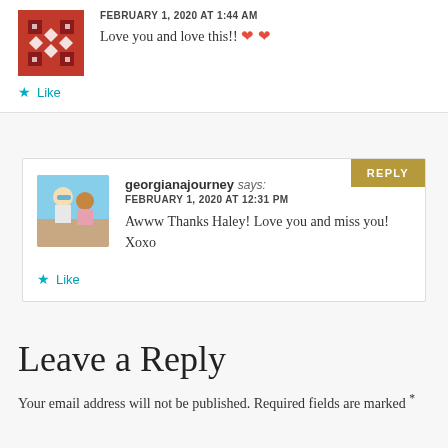FEBRUARY 1, 2020 AT 1:44 AM
Love you and love this!! ❤️ ❤️
Like
georgianajourney says:
FEBRUARY 1, 2020 AT 12:31 PM
Awww Thanks Haley! Love you and miss you! Xoxo
Like
Leave a Reply
Your email address will not be published. Required fields are marked *